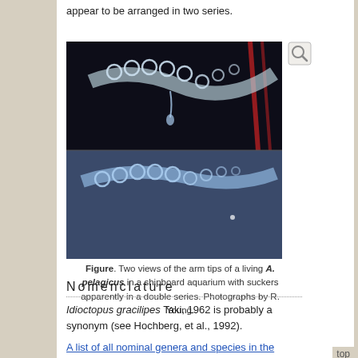appear to be arranged in two series.
[Figure (photo): Two views of the arm tips of a living A. pelagicus in a shipboard aquarium, showing suckers apparently in a double series. Two photos stacked, top shows darker background with round suckers visible, bottom shows bluish tones with suckers.]
Figure. Two views of the arm tips of a living A. pelagicus in a shipboard aquarium with suckers apparently in a double series. Photographs by R. Young.
Nomenclature
Idioctopus gracilipes Taki, 1962 is probably a synonym (see Hochberg, et al., 1992).
A list of all nominal genera and species in the Amphitretinae can